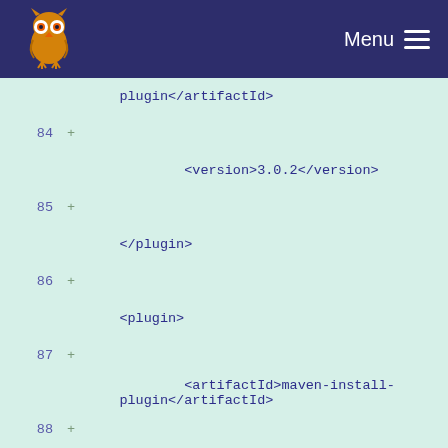Menu
[Figure (screenshot): Code diff view showing XML Maven plugin configuration, lines 84-92, with green background and line numbers, plus signs indicating additions.]